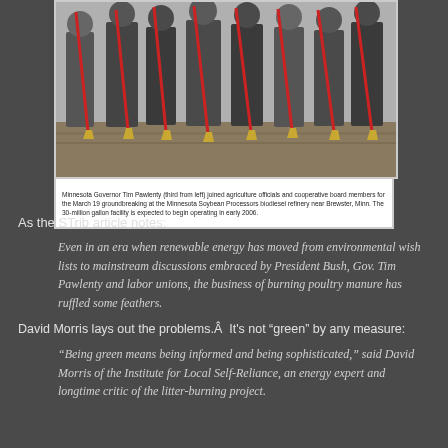[Figure (photo): Group of people holding shovels at a groundbreaking ceremony outdoors, with dry vegetation on the ground.]
Minnesota Governor Tim Pawlenty (third from left) joined agriculture officials and cooperative board members for the March 19 groundbreaking at the Minnesota Soybean Processors biodiesel refinery near Brewster, Minn. The 30-million gallon facility is expected to begin operating in early 2006.
As the STrib article notes:
Even in an era when renewable energy has moved from environmental wish lists to mainstream discussions embraced by President Bush, Gov. Tim Pawlenty and labor unions, the business of burning poultry manure has ruffled some feathers.
David Morris lays out the problems.Â  It's not "green" by any measure:
"Being green means being informed and being sophisticated," said David Morris of the Institute for Local Self-Reliance, an energy expert and longtime critic of the litter-burning project.